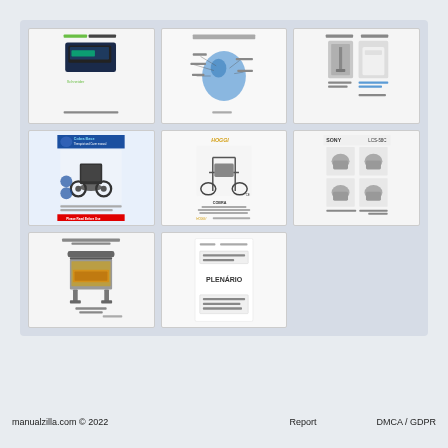[Figure (screenshot): Grid of 8 document/manual thumbnail images arranged in a 3x3 grid (last cell empty). Thumbnails include: Schneider device manual (2002), anatomical diagram of a body part, Cabole product photo, Cobra Base therapist and carer manual with wheelchair, HOGGI COBRA indoor base sports wheelchair user manual, Sony LCS-58C camera accessory manual showing multiple product views, cooking appliance/grill manual, and PLENARIO document.]
manualzilla.com © 2022	Report	DMCA / GDPR